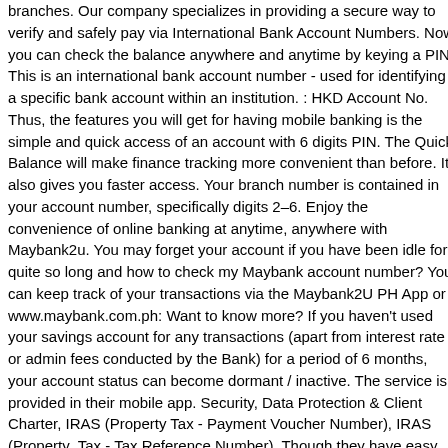branches. Our company specializes in providing a secure way to verify and safely pay via International Bank Account Numbers. Now you can check the balance anywhere and anytime by keying a PIN. This is an international bank account number - used for identifying a specific bank account within an institution. : HKD Account No. Thus, the features you will get for having mobile banking is the simple and quick access of an account with 6 digits PIN. The Quick Balance will make finance tracking more convenient than before. It also gives you faster access. Your branch number is contained in your account number, specifically digits 2–6. Enjoy the convenience of online banking at anytime, anywhere with Maybank2u. You may forget your account if you have been idle for quite so long and how to check my Maybank account number? You can keep track of your transactions via the Maybank2U PH App or www.maybank.com.ph: Want to know more? If you haven't used your savings account for any transactions (apart from interest rate or admin fees conducted by the Bank) for a period of 6 months, your account status can become dormant / inactive. The service is provided in their mobile app. Security, Data Protection & Client Charter, IRAS (Property Tax - Payment Voucher Number), IRAS (Property Tax - Tax Reference Number). Though they have easy and simple access, do not worry about their security. Maybank Overview. For inquiries or complaints, you may contact Maybank Customer Service hotline at (02) 8588 3888 or our toll-free number 1800 10 588 3888. It allows the customers to check their Maybank current account with the current savings, charge, and credit card balances